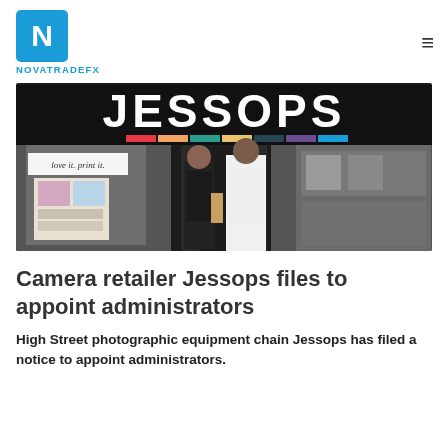NOVATRADEFX
[Figure (photo): Exterior of a Jessops camera and photography retail store. Two people are walking into the entrance beneath a large black sign reading 'JESSOPS' in white letters with a multicolored stripe. Inside the store, camera equipment is visible on the right. A poster on the left reads 'love it. print it.']
Camera retailer Jessops files to appoint administrators
High Street photographic equipment chain Jessops has filed a notice to appoint administrators.